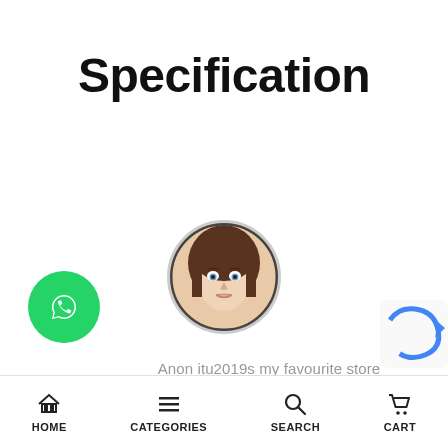Specification
[Figure (photo): Circular profile avatar photo of a young woman with long brown hair, pale skin, and blue eyes, displayed inside a circular crop with a dark border.]
Anon itu2019s my favourite store evest thing itu2019s made with quality The clothes are really good and looks so expensive but they not really.
[Figure (logo): Green circular WhatsApp button with white phone/chat icon]
[Figure (other): Partial CAPTCHA reCAPTCHA logo visible at bottom right edge]
HOME   CATEGORIES   SEARCH   CART